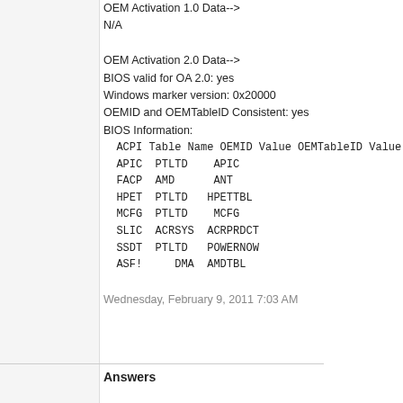OEM Activation 1.0 Data-->
N/A

OEM Activation 2.0 Data-->
BIOS valid for OA 2.0: yes
Windows marker version: 0x20000
OEMID and OEMTableID Consistent: yes
BIOS Information:
  ACPI Table Name OEMID Value OEMTableID Value
  APIC  PTLTD    APIC
  FACP  AMD      ANT
  HPET  PTLTD   HPETTBL
  MCFG  PTLTD    MCFG
  SLIC  ACRSYS  ACRPRDCT
  SSDT  PTLTD   POWERNOW
  ASF!     DMA  AMDTBL
Wednesday, February 9, 2011 7:03 AM
Answers